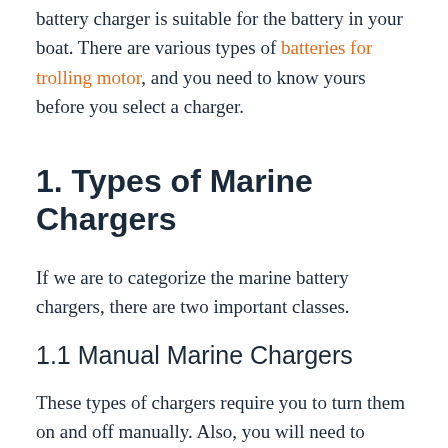battery charger is suitable for the battery in your boat. There are various types of batteries for trolling motor, and you need to know yours before you select a charger.
1. Types of Marine Chargers
If we are to categorize the marine battery chargers, there are two important classes.
1.1 Manual Marine Chargers
These types of chargers require you to turn them on and off manually. Also, you will need to adjust the voltage and the current based on your battery's requirements.